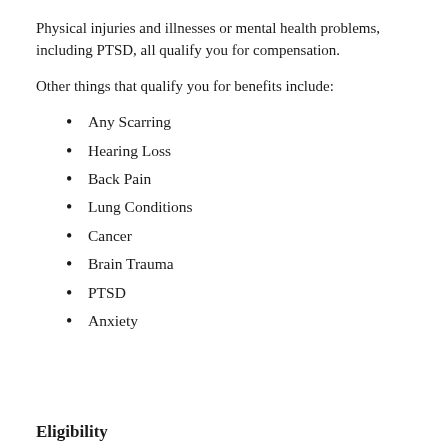Physical injuries and illnesses or mental health problems, including PTSD, all qualify you for compensation.
Other things that qualify you for benefits include:
Any Scarring
Hearing Loss
Back Pain
Lung Conditions
Cancer
Brain Trauma
PTSD
Anxiety
Eligibility